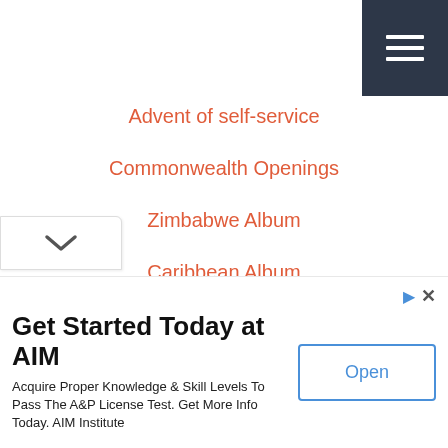[Figure (other): Dark hamburger menu button with three white horizontal lines, positioned top-right]
Advent of self-service
Commonwealth Openings
Zimbabwe Album
Caribbean Album
Fiftieth birthday celebrations
A warning from the USA
What's on TV?
[Figure (other): Chevron/down-arrow scroll button at bottom-left]
Get Started Today at AIM
Acquire Proper Knowledge & Skill Levels To Pass The A&P License Test. Get More Info Today. AIM Institute
Open